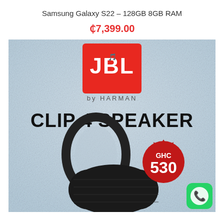Samsung Galaxy S22 – 128GB 8GB RAM
₵7,399.00
[Figure (photo): JBL Clip 4 Speaker product advertisement image on blue/grey textured background. Features JBL by Harman logo in red square at top, text 'CLIP 4 SPEAKER' in bold black, a black JBL Clip 4 Bluetooth speaker device, and a red badge showing price GHC 530. WhatsApp icon in bottom right corner.]